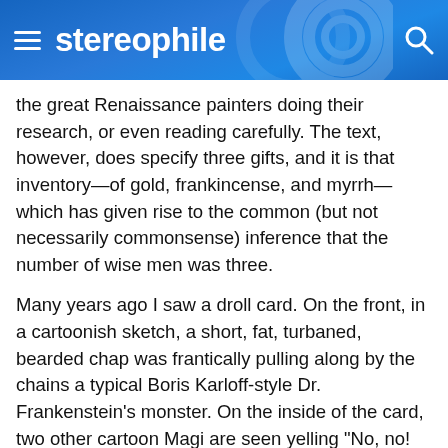stereophile
the great Renaissance painters doing their research, or even reading carefully. The text, however, does specify three gifts, and it is that inventory—of gold, frankincense, and myrrh—which has given rise to the common (but not necessarily commonsense) inference that the number of wise men was three.
Many years ago I saw a droll card. On the front, in a cartoonish sketch, a short, fat, turbaned, bearded chap was frantically pulling along by the chains a typical Boris Karloff-style Dr. Frankenstein's monster. On the inside of the card, two other cartoon Magi are seen yelling "No, no! Frankincense!" In case you were wondering, frankincense is the dried resin of